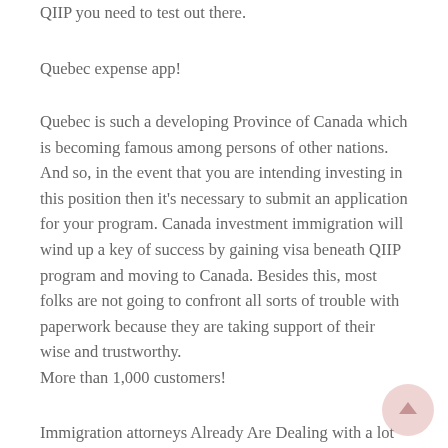QIIP you need to test out there.
Quebec expense app!
Quebec is such a developing Province of Canada which is becoming famous among persons of other nations. And so, in the event that you are intending investing in this position then it's necessary to submit an application for your program. Canada investment immigration will wind up a key of success by gaining visa beneath QIIP program and moving to Canada. Besides this, most folks are not going to confront all sorts of trouble with paperwork because they are taking support of their wise and trustworthy.
More than 1,000 customers!
Immigration attorneys Already Are Dealing with a lot more than 1,000 clients, thus we can say they are focusing on lots of immigration instances. It's wise to apply below quebec immigrant investor program by assessing